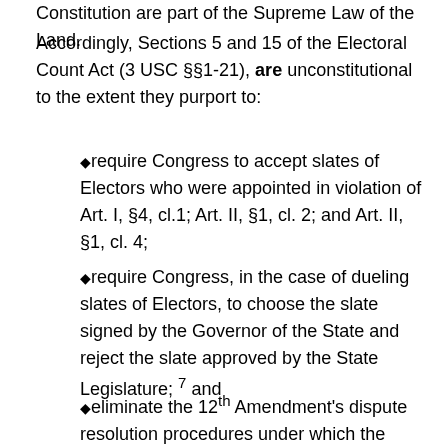Constitution are part of the Supreme Law of the Land.
Accordingly, Sections 5 and 15 of the Electoral Count Act (3 USC §§1-21), are unconstitutional to the extent they purport to:
require Congress to accept slates of Electors who were appointed in violation of Art. I, §4, cl.1; Art. II, §1, cl. 2; and Art. II, §1, cl. 4;
require Congress, in the case of dueling slates of Electors, to choose the slate signed by the Governor of the State and reject the slate approved by the State Legislature; 7 and
eliminate the 12th Amendment's dispute resolution procedures under which the House of Representatives chooses the President; and the Senate chooses the Vice President.8